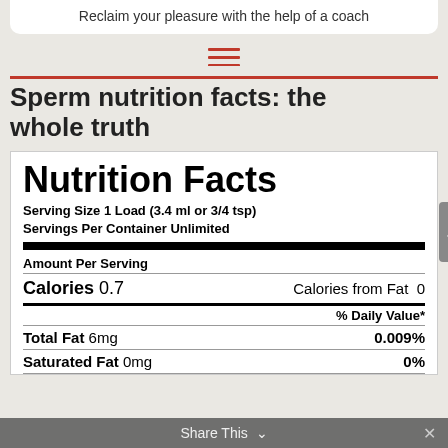Reclaim your pleasure with the help of a coach
Sperm nutrition facts: the whole truth
[Figure (other): Nutrition Facts label showing: Serving Size 1 Load (3.4 ml or 3/4 tsp), Servings Per Container Unlimited, Amount Per Serving, Calories 0.7, Calories from Fat 0, % Daily Value*, Total Fat 6mg 0.009%, Saturated Fat 0mg 0%]
Share This